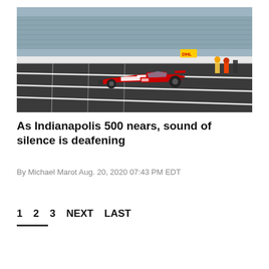[Figure (photo): An IndyCar race car with red and white livery (BOSS branding) on the pit lane at Indianapolis Motor Speedway, with grandstands visible in the background under a blue sky with clouds.]
As Indianapolis 500 nears, sound of silence is deafening
By Michael Marot Aug. 20, 2020 07:43 PM EDT
1  2  3  NEXT  LAST